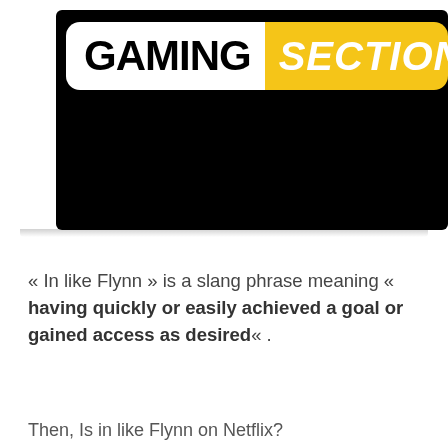[Figure (logo): Gaming Section logo: black rectangular background with rounded corners. Left portion shows 'GAMING' in bold black text on white rounded label. Right portion shows 'SECTION' in bold italic white text on yellow/gold rounded label.]
« In like Flynn » is a slang phrase meaning « having quickly or easily achieved a goal or gained access as desired« .
Then, Is in like Flynn on Netflix?